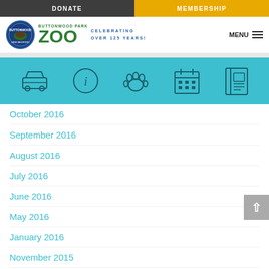DONATE | MEMBERSHIP
[Figure (logo): Buttonwood Park Zoo logo with circular badge and green ZOO text, celebrating over 125 years]
[Figure (infographic): Teal navigation bar with 5 icons: car, info (i), paw print, calendar, book/passport]
October 2016
September 2016
August 2016
July 2016
June 2016
May 2016
January 2016
November 2015
October 2015
September 2015